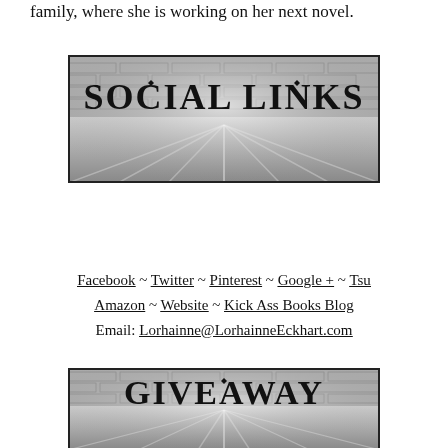family, where she is working on her next novel.
[Figure (illustration): Grayscale banner image with brick wall background and wooden floor, text reads SOCIAL LINKS in decorative bold black font]
Facebook ~ Twitter ~ Pinterest ~ Google + ~ Tsu
Amazon ~ Website ~ Kick Ass Books Blog
Email: Lorhainne@LorhainneEckhart.com
[Figure (illustration): Grayscale banner image with brick wall background and wooden floor, text reads GIVEAWAY in decorative bold black font]